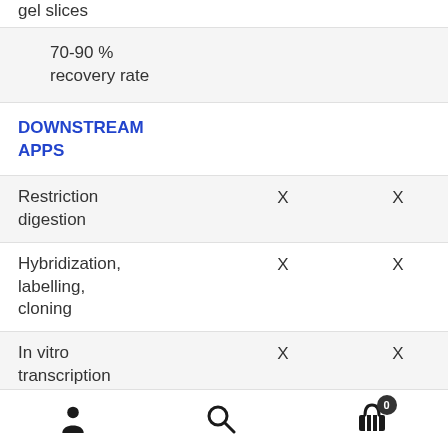gel slices
70-90 % recovery rate
DOWNSTREAM APPS
|  |  |  |
| --- | --- | --- |
| Restriction digestion | X | X |
| Hybridization, labelling, cloning | X | X |
| In vitro transcription | X | X |
Navigation bar with user, search, and cart (0) icons